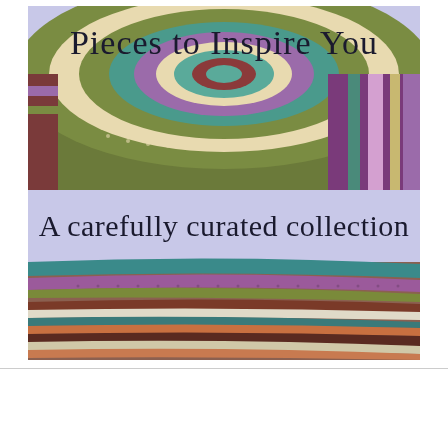[Figure (illustration): A composite image showing colorful crochet blankets/mandalas. Top section has a lavender banner with handwritten-style text 'Pieces to Inspire You'. Middle shows a circular crocheted mandala rug in olive, cream, teal, purple, and pink colors. A second lavender banner reads 'A carefully curated collection'. Bottom section shows another crocheted blanket with curved stripes in teal, purple, brown, white, olive, and multicolor.]